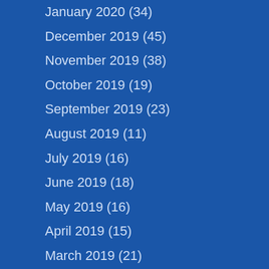January 2020 (34)
December 2019 (45)
November 2019 (38)
October 2019 (19)
September 2019 (23)
August 2019 (11)
July 2019 (16)
June 2019 (18)
May 2019 (16)
April 2019 (15)
March 2019 (21)
February 2019 (19)
January 2019 (20)
December 2018 (32)